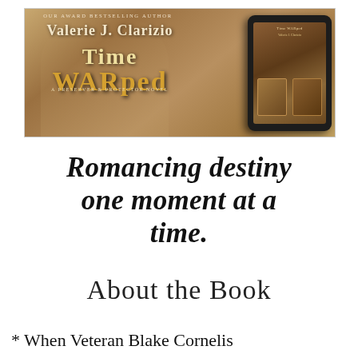[Figure (illustration): Book cover image for 'Time WARped' by Valerie J. Clarizio, a Preserver & Protector Novel. Shows a man and woman embracing with a warm brown/golden tone background. A tablet device showing additional book covers is visible on the right.]
Romancing destiny one moment at a time.
About the Book
* When Veteran Blake Cornelis